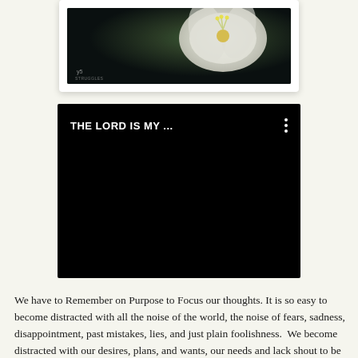[Figure (photo): Close-up macro photograph of a white flower (blossom) against a dark blurred background, with a small watermark/logo in the lower left area of the image]
[Figure (screenshot): Black video player thumbnail with white text reading 'THE LORD IS MY ...' and a vertical three-dot menu icon in the upper right corner]
We have to Remember on Purpose to Focus our thoughts. It is so easy to become distracted with all the noise of the world, the noise of fears, sadness, disappointment, past mistakes, lies, and just plain foolishness.  We become distracted with our desires, plans, and wants, our needs and lack shout to be heard and given attention, driving us to try and manipulate situations to go a certain way.